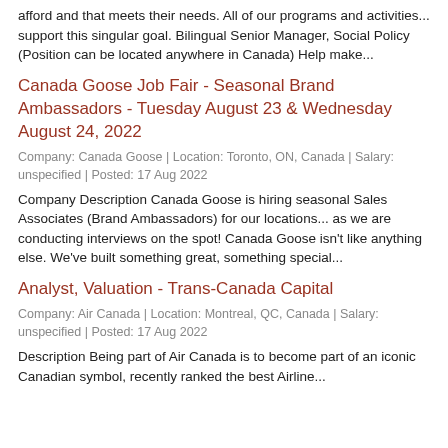afford and that meets their needs. All of our programs and activities... support this singular goal. Bilingual Senior Manager, Social Policy (Position can be located anywhere in Canada) Help make...
Canada Goose Job Fair - Seasonal Brand Ambassadors - Tuesday August 23 & Wednesday August 24, 2022
Company: Canada Goose | Location: Toronto, ON, Canada | Salary: unspecified | Posted: 17 Aug 2022
Company Description Canada Goose is hiring seasonal Sales Associates (Brand Ambassadors) for our locations... as we are conducting interviews on the spot! Canada Goose isn't like anything else. We've built something great, something special...
Analyst, Valuation - Trans-Canada Capital
Company: Air Canada | Location: Montreal, QC, Canada | Salary: unspecified | Posted: 17 Aug 2022
Description Being part of Air Canada is to become part of an iconic Canadian symbol, recently ranked the best Airline...